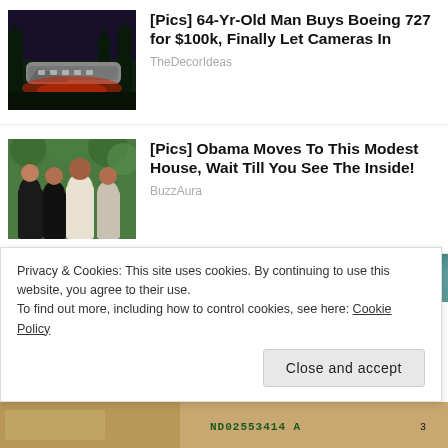[Figure (photo): Night photo of a Boeing 727 aircraft converted into a home, with red lighting underneath and forested background]
[Pics] 64-Yr-Old Man Buys Boeing 727 for $100k, Finally Let Cameras In
TheDecorIdeas
[Figure (photo): Family photo of four people (Barack Obama and family) smiling outdoors in a leafy green setting]
[Pics] Obama Moves To This Modest House, Wait Till You See The Inside!
BuzzAura
[Figure (screenshot): Teal/dark cyan banner background section]
Privacy & Cookies: This site uses cookies. By continuing to use this website, you agree to their use.
To find out more, including how to control cookies, see here: Cookie Policy
Close and accept
[Figure (photo): Bottom strip showing partial image with currency note markings including ND02553414A]